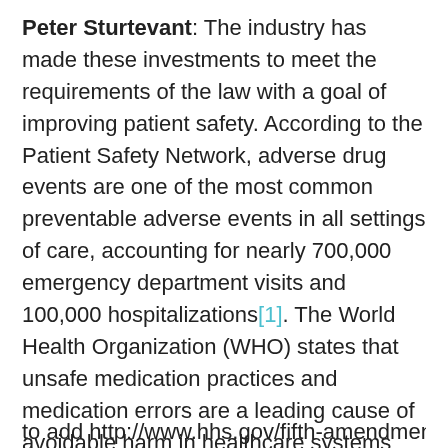Peter Sturtevant: The industry has made these investments to meet the requirements of the law with a goal of improving patient safety. According to the Patient Safety Network, adverse drug events are one of the most common preventable adverse events in all settings of care, accounting for nearly 700,000 emergency department visits and 100,000 hospitalizations[1]. The World Health Organization (WHO) states that unsafe medication practices and medication errors are a leading cause of avoidable harm in healthcare systems across the world, with a global cost estimated at $42 billion annually[2]. Knowing this, how can we place a dollar value on saving lives?